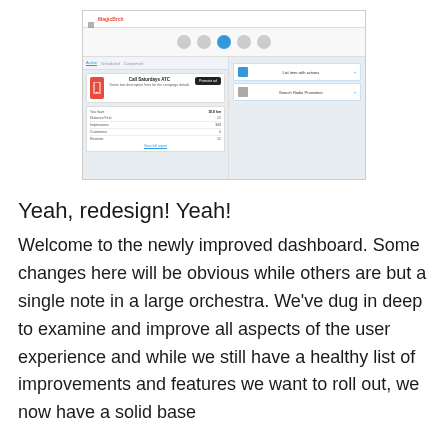[Figure (screenshot): Screenshot of a redesigned dashboard UI showing navigation icons, a card with a mobile phone icon titled 'Call Saturdays ATC', a promote/boost button, statistics panel with numeric values, and list items below.]
Yeah, redesign! Yeah!
Welcome to the newly improved dashboard. Some changes here will be obvious while others are but a single note in a large orchestra. We've dug in deep to examine and improve all aspects of the user experience and while we still have a healthy list of improvements and features we want to roll out, we now have a solid base